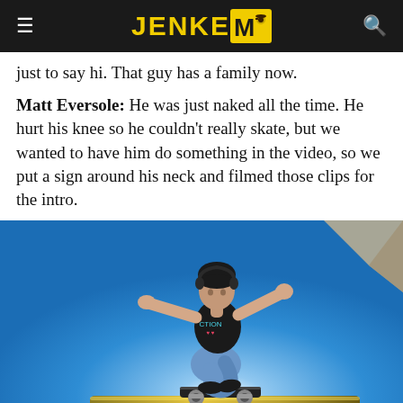JENKEM
just to say hi. That guy has a family now.
Matt Eversole: He was just naked all the time. He hurt his knee so he couldn’t really skate, but we wanted to have him do something in the video, so we put a sign around his neck and filmed those clips for the intro.
[Figure (photo): Skateboarder performing a trick on a rail, silhouetted against a vivid blue sky, viewed from a low angle. The skater wears a black t-shirt and jeans, arms outstretched, skateboard on a yellow rail.]